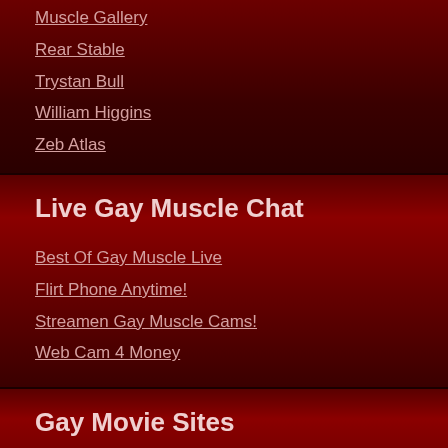Muscle Gallery
Rear Stable
Trystan Bull
William Higgins
Zeb Atlas
Live Gay Muscle Chat
Best Of Gay Muscle Live
Flirt Phone Anytime!
Streamen Gay Muscle Cams!
Web Cam 4 Money
Gay Movie Sites
Gay Movies
Gay Videos